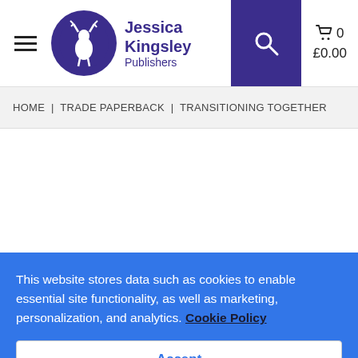Jessica Kingsley Publishers — Navigation header with logo, search and cart (£0.00, 0 items)
HOME | TRADE PAPERBACK | TRANSITIONING TOGETHER
This website stores data such as cookies to enable essential site functionality, as well as marketing, personalization, and analytics. Cookie Policy
Accept
Deny